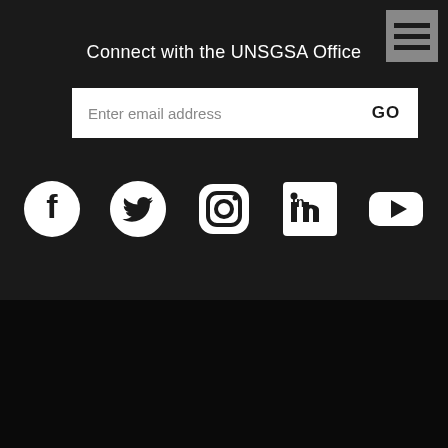[Figure (screenshot): Hamburger menu icon (three horizontal lines) in a gray square, top-right corner]
Connect with the UNSGSA Office
[Figure (screenshot): Email subscription form with text input 'Enter email address' and GO button]
[Figure (infographic): Social media icons row: Facebook, Twitter, Instagram, LinkedIn, YouTube - all white on dark background]
© 2009 - 2022 UNSGSA | Terms of use